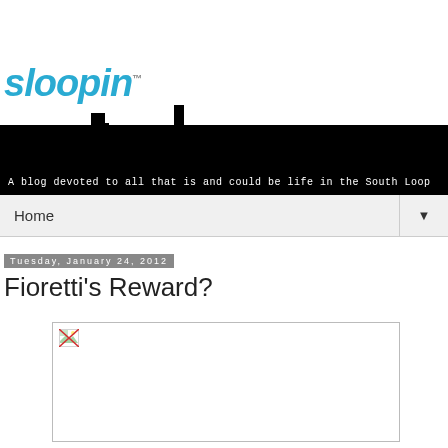sloopin™ — A blog devoted to all that is and could be life in the South Loop
Home
Tuesday, January 24, 2012
Fioretti's Reward?
[Figure (photo): Broken/missing image placeholder within a white bordered box]